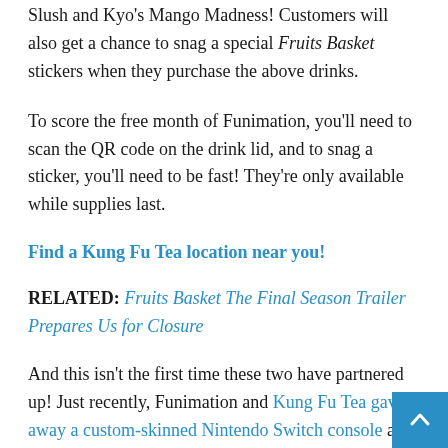Slush and Kyo's Mango Madness! Customers will also get a chance to snag a special Fruits Basket stickers when they purchase the above drinks.
To score the free month of Funimation, you'll need to scan the QR code on the drink lid, and to snag a sticker, you'll need to be fast! They're only available while supplies last.
Find a Kung Fu Tea location near you!
RELATED: Fruits Basket The Final Season Trailer Prepares Us for Closure
And this isn't the first time these two have partnered up! Just recently, Funimation and Kung Fu Tea gave away a custom-skinned Nintendo Switch console as the perfect way to celebrate the new year.